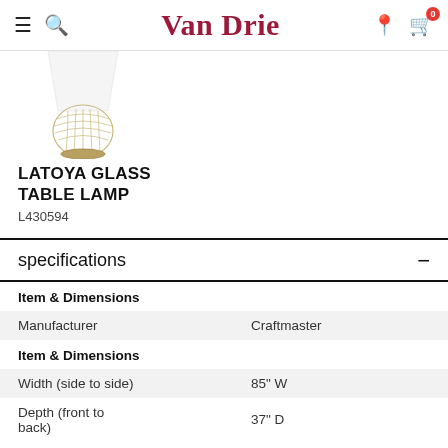Van Drie
[Figure (photo): Partial image of the Latoya Glass Table Lamp showing the decorative glass base and white shade bottom]
LATOYA GLASS TABLE LAMP
L430594
specifications
|  |  |
| --- | --- |
| Item & Dimensions |  |
| Manufacturer | Craftmaster |
| Item & Dimensions |  |
| Width (side to side) | 85" W |
| Depth (front to back) | 37" D |